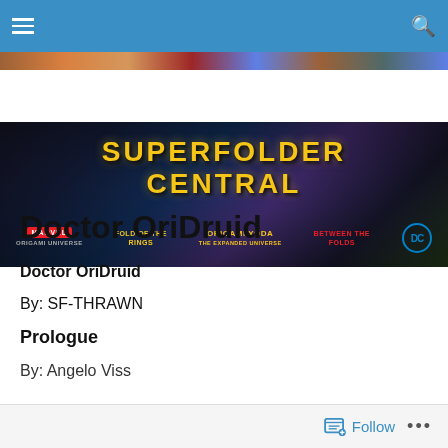Navigation bar with hamburger menu and search icon
[Figure (illustration): Superfolder Central website banner with Star Wars-style yellow title text 'SUPERFOLDER CENTRAL' on dark space background, with sub-logos: MARVEL, Fold of the Rings, ORIGAMI YODA THE EXPANDED UNIVERSE, BETWEEN THE FOLDS, DC]
Doctor OriDruid
Doctor OriDruid
By: SF-THRAWN
Prologue
By: Angelo Viss
Follow  •••